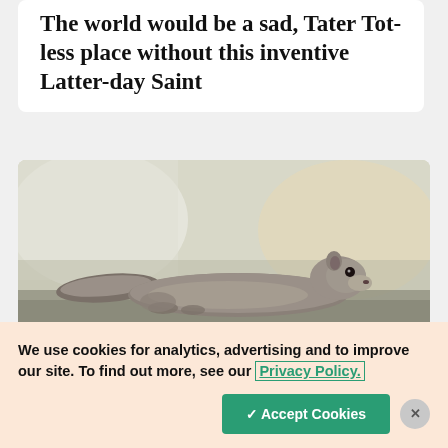The world would be a sad, Tater Tot-less place without this inventive Latter-day Saint
[Figure (photo): A grey squirrel lying flat on its belly on a flat surface, with a blurred indoor background]
We use cookies for analytics, advertising and to improve our site. To find out more, see our Privacy Policy.
✓ Accept Cookies